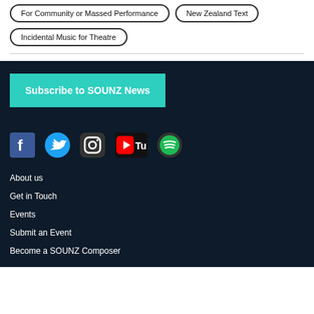For Community or Massed Performance
New Zealand Text
Incidental Music for Theatre
[Figure (screenshot): Subscribe to SOUNZ News button in teal/cyan color]
[Figure (infographic): Social media icons: Facebook, Twitter, Instagram, YouTube, Spotify — white icons on dark background]
About us
Get in Touch
Events
Submit an Event
Become a SOUNZ Composer